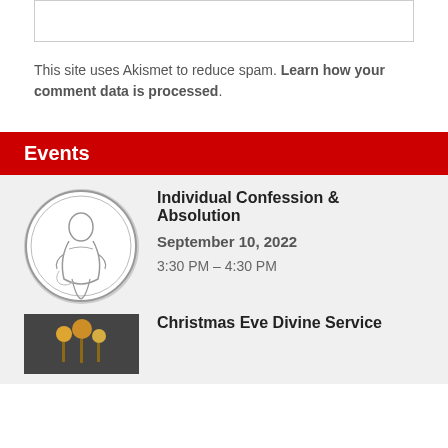This site uses Akismet to reduce spam. Learn how your comment data is processed.
Events
Individual Confession & Absolution
September 10, 2022
3:30 PM – 4:30 PM
Christmas Eve Divine Service